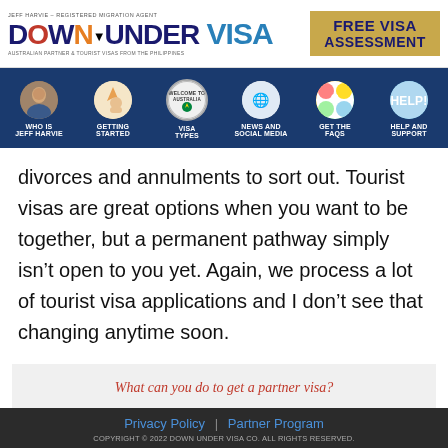[Figure (logo): Down Under Visa logo with tagline 'Jeff Harvie - Registered Migration Agent' and 'Australian Partner & Tourist Visas from the Philippines', alongside a gold 'Free Visa Assessment' box]
[Figure (infographic): Navigation bar with six circular icon buttons: Who is Jeff Harvie, Getting Started, Visa Types, News and Social Media, Get the FAQs, Help and Support]
divorces and annulments to sort out. Tourist visas are great options when you want to be together, but a permanent pathway simply isn't open to you yet. Again, we process a lot of tourist visa applications and I don't see that changing anytime soon.
What can you do to get a partner visa?
Privacy Policy | Partner Program
COPYRIGHT © 2022 DOWN UNDER VISA CO. ALL RIGHTS RESERVED.